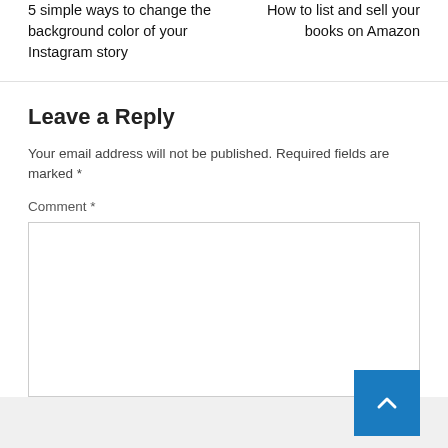5 simple ways to change the background color of your Instagram story
How to list and sell your books on Amazon
Leave a Reply
Your email address will not be published. Required fields are marked *
Comment *